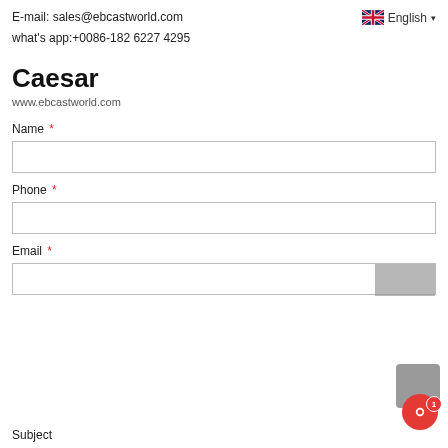E-mail: sales@ebcastworld.com
English ▾
what's app:+0086-182 6227 4295
Caesar
www.ebcastworld.com
Name *
Phone *
Email *
Subject